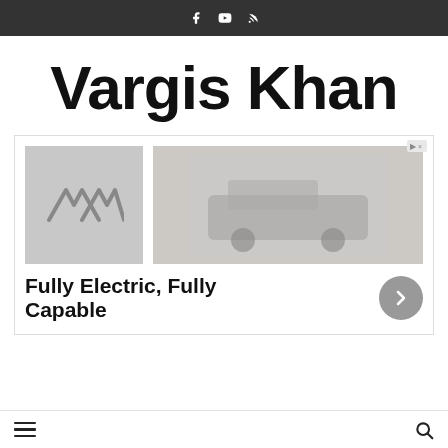Social icons: Facebook, YouTube, RSS
Vargis Khan
[Figure (advertisement): Ad banner with AWV logo on left, car image on right, text 'Fully Electric, Fully Capable' with arrow button]
Navigation bar with hamburger menu and search icon